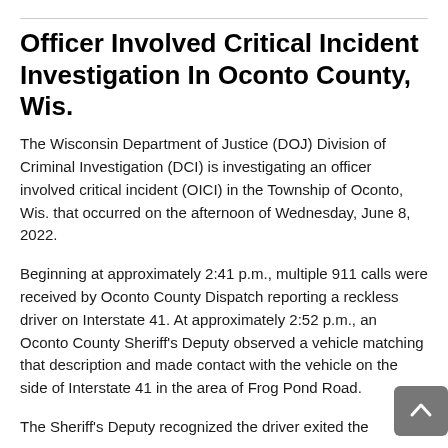Officer Involved Critical Incident Investigation In Oconto County, Wis.
The Wisconsin Department of Justice (DOJ) Division of Criminal Investigation (DCI) is investigating an officer involved critical incident (OICI) in the Township of Oconto, Wis. that occurred on the afternoon of Wednesday, June 8, 2022.
Beginning at approximately 2:41 p.m., multiple 911 calls were received by Oconto County Dispatch reporting a reckless driver on Interstate 41. At approximately 2:52 p.m., an Oconto County Sheriff's Deputy observed a vehicle matching that description and made contact with the vehicle on the side of Interstate 41 in the area of Frog Pond Road.
The Sheriff's Deputy recognized the driver exited the